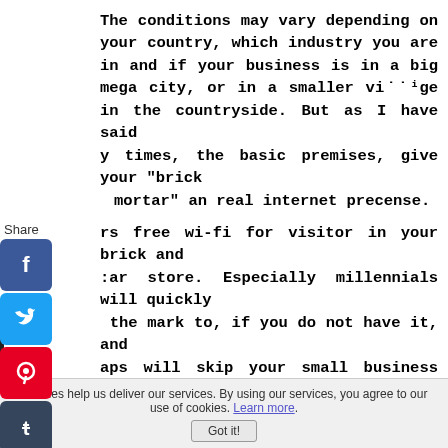The conditions may vary depending on your country, which industry you are in and if your business is in a big mega city, or in a smaller village in the countryside. But as I have said many times, the basic premises, give your "brick and mortar" an real internet precense.
[Figure (infographic): Social share sidebar with icons for Facebook, Twitter, Pinterest, Tumblr, Reddit, WhatsApp and a Share label]
Offers free wi-fi for visitor in your brick and mortar store. Especially millennials will quickly miss the mark to, if you do not have it, and perhaps will skip your small business altogether, when they notice that Wifi is neglected.
Cookies help us deliver our services. By using our services, you agree to our use of cookies. Learn more. Got it!